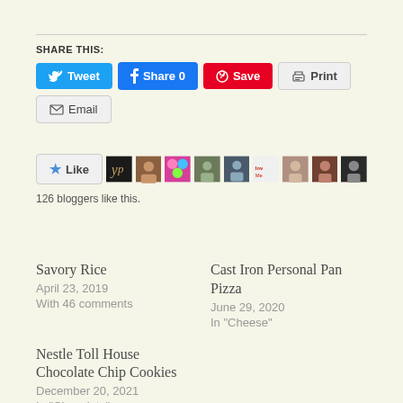SHARE THIS:
[Figure (screenshot): Social sharing buttons: Tweet (blue), Share 0 (Facebook blue), Save (Pinterest red), Print (gray), Email (gray)]
[Figure (screenshot): Like button with star icon followed by 9 blogger avatar thumbnails. Text below: 126 bloggers like this.]
126 bloggers like this.
Savory Rice
April 23, 2019
With 46 comments
Cast Iron Personal Pan Pizza
June 29, 2020
In "Cheese"
Nestle Toll House Chocolate Chip Cookies
December 20, 2021
In "Chocolate"